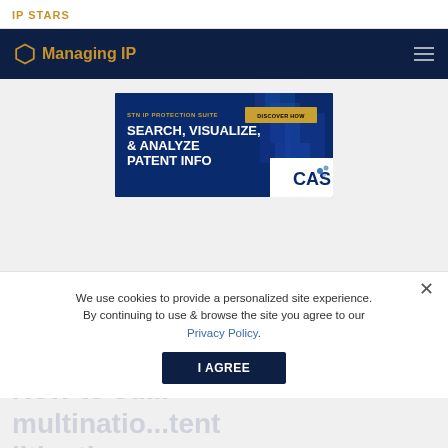IP STARS
[Figure (logo): Managing IP logo with hexagon icon on dark navy navigation bar]
[Figure (infographic): CAS STN IP Protection Suite advertisement banner: 'STN IP PROTECTION SUITE - SEARCH, VISUALIZE, & ANALYZE PATENT INFO' with 'DISCOVER HOW' button and CAS logo on dark blue background with hexagonal pattern]
We use cookies to provide a personalized site experience. By continuing to use & browse the site you agree to our Privacy Policy.
I AGREE
How to su... multinatio...tent litigation